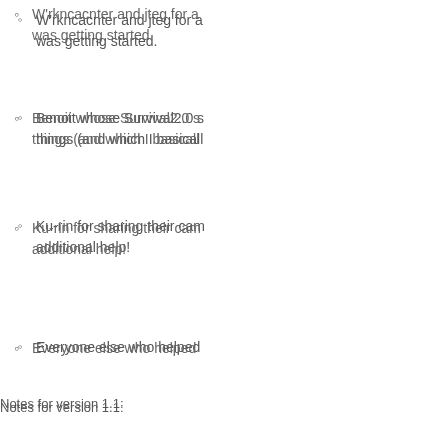W'rkncacnter and jteg for a... was getting started.
Benoit whose Survival2.0 s... things (and which I basicall...
Ku-rin for sharing their cam... additional help!
Everyone else who helped...
Notes for version 1.1:
Changes
Disabled High Value Target no... the match to become softlocke...
Looking into
Rewriting HVT notification...
Sometimes combatants fail...